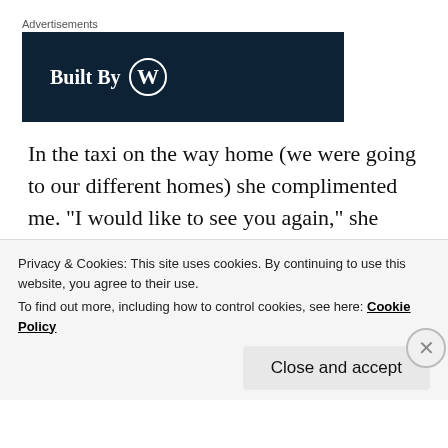Advertisements
[Figure (logo): Dark navy blue advertisement banner with 'Built By' text and WordPress logo in white]
In the taxi on the way home (we were going to our different homes) she complimented me. "I would like to see you again," she said. "You are such a gentleman."
And then she asked me something else. She owed some department 100 soles and asked if she could
Privacy & Cookies: This site uses cookies. By continuing to use this website, you agree to their use.
To find out more, including how to control cookies, see here: Cookie Policy
Close and accept